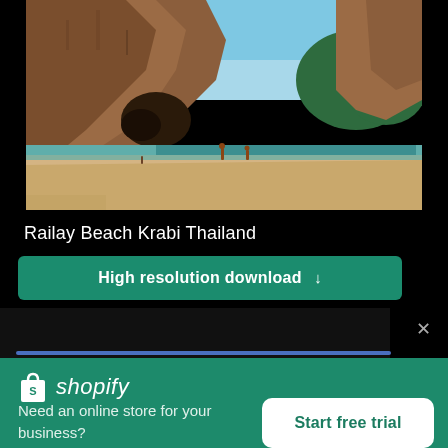[Figure (photo): Railay Beach Krabi Thailand — dramatic limestone cliffs with cave opening on the left, sandy beach with a few people, turquoise water and lush green rocky island on the right, blue sky]
Railay Beach Krabi Thailand
High resolution download ↓
[Figure (logo): Shopify logo — white shopping bag icon with 'S' followed by italic text 'shopify' in white]
Need an online store for your business?
Start free trial